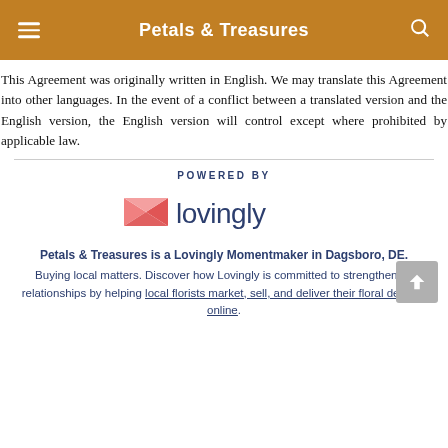Petals & Treasures
This Agreement was originally written in English. We may translate this Agreement into other languages. In the event of a conflict between a translated version and the English version, the English version will control except where prohibited by applicable law.
POWERED BY
[Figure (logo): Lovingly logo with pink heart/envelope icon and dark blue 'lovingly' wordmark]
Petals & Treasures is a Lovingly Momentmaker in Dagsboro, DE.
Buying local matters. Discover how Lovingly is committed to strengthening relationships by helping local florists market, sell, and deliver their floral designs online.